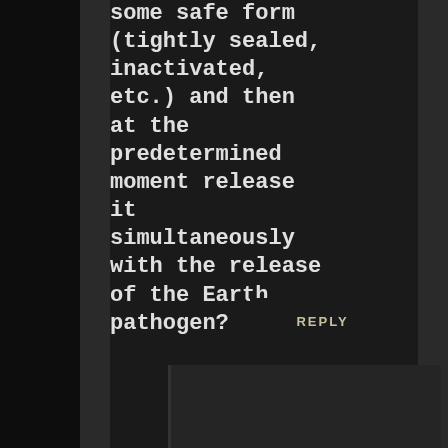some safe form (tightly sealed, inactivated, etc.) and then at the predetermined moment release it simultaneously with the release of the Earth pathogen?
REPLY
[Figure (illustration): Generic user avatar icon — white silhouette of a person on a gray background]
Mark
says: